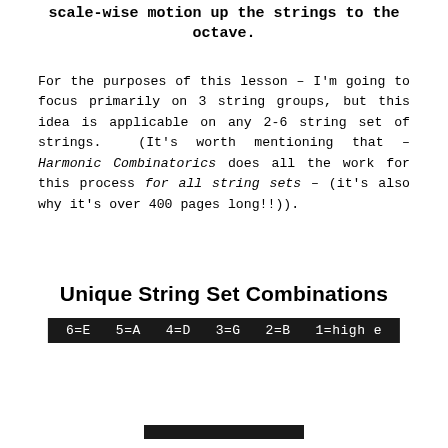scale-wise motion up the strings to the octave.
For the purposes of this lesson – I'm going to focus primarily on 3 string groups, but this idea is applicable on any 2-6 string set of strings.  (It's worth mentioning that – Harmonic Combinatorics does all the work for this process for all string sets – (it's also why it's over 400 pages long!!)).
Unique String Set Combinations
[Figure (infographic): Black bar showing guitar string number to note name mapping: 6=E  5=A  4=D  3=G  2=B  1=high e]
[Figure (infographic): Partial black bar visible at bottom of page]